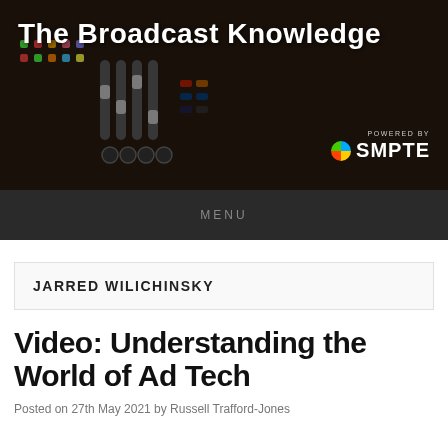[Figure (screenshot): The Broadcast Knowledge website banner with broadcast equipment/mixing console in background, powered by SMPTE logo in bottom right]
MENU
JARRED WILICHINSKY
Video: Understanding the World of Ad Tech
Posted on 27th May 2021 by Russell Trafford-Jones